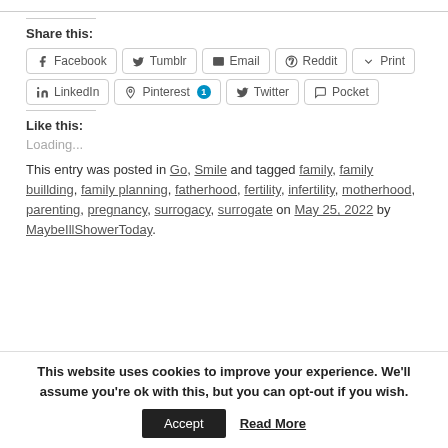Share this:
Facebook, Tumblr, Email, Reddit, Print, LinkedIn, Pinterest 1, Twitter, Pocket
Like this:
Loading...
This entry was posted in Go, Smile and tagged family, family buillding, family planning, fatherhood, fertility, infertility, motherhood, parenting, pregnancy, surrogacy, surrogate on May 25, 2022 by MaybeIllShowerToday.
This website uses cookies to improve your experience. We'll assume you're ok with this, but you can opt-out if you wish.
Accept
Read More